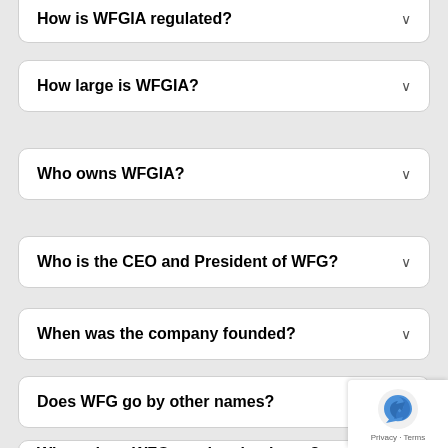How is WFGIA regulated?
How large is WFGIA?
Who owns WFGIA?
Who is the CEO and President of WFG?
When was the company founded?
Does WFG go by other names?
Where does WFG conduct business?